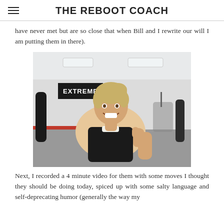THE REBOOT COACH
have never met but are so close that when Bill and I rewrite our will I am putting them in there).
[Figure (photo): A woman at a martial arts gym (Extreme Fitness Martial Arts) giving a thumbs up selfie. She has blonde hair pulled back, wearing a black tank top. The gym has red mats, punching bags, and an 'EXTREME' sign on the wall in the background.]
Next, I recorded a 4 minute video for them with some moves I thought they should be doing today, spiced up with some salty language and self-deprecating humor (generally the way my